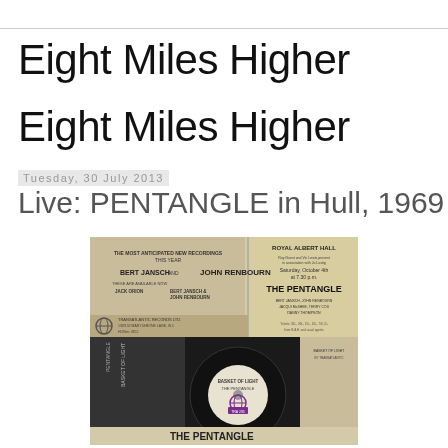Eight Miles Higher
Eight Miles Higher
Tuesday, 30 July 2013
Live: PENTANGLE in Hull, 1969
[Figure (photo): Collage of vintage Pentangle music memorabilia including newspaper clippings advertising Bert Jansch and John Renbourn on Transatlantic Records Ltd, a Royal Albert Hall concert flyer for The Pentangle featuring Bert Jansch, John Renbourn, Jacqui McShee, Terry Cox, Danny Thompson, and a vinyl record label for Basket of Light by The Pentangle (TRA 205) with the Transatlantic Records globe logo in purple, plus album sleeve fragments.]